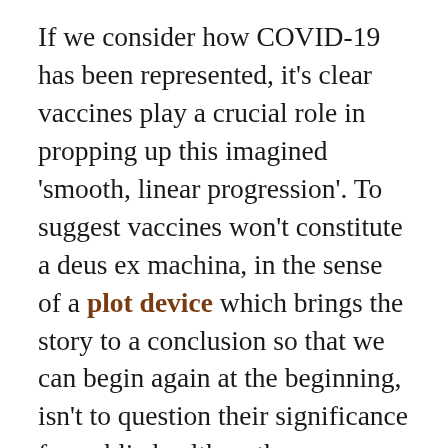If we consider how COVID-19 has been represented, it's clear vaccines play a crucial role in propping up this imagined 'smooth, linear progression'. To suggest vaccines won't constitute a deus ex machina, in the sense of a plot device which brings the story to a conclusion so that we can begin again at the beginning, isn't to question their significance for public health or the remarkable achievement they represent. However it is a reminder of things which are well understood: